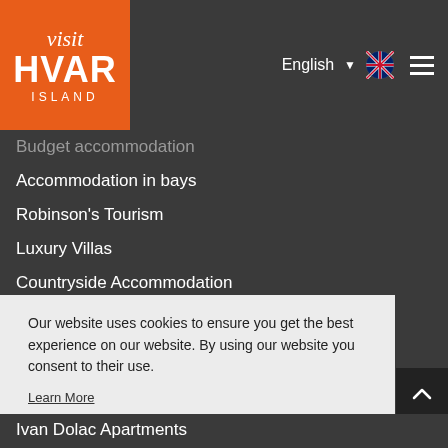visit HVAR ISLAND — English [flag] [menu]
Budget accommodation
Accommodation in bays
Robinson's Tourism
Luxury Villas
Countryside Accommodation
Private Accommodation
Accommodation in Hotels
Accommodation in Hostels
Camping Accommodation
Our website uses cookies to ensure you get the best experience on our website. By using our website you consent to their use. Learn More
Got it!
Ivan Dolac Apartments